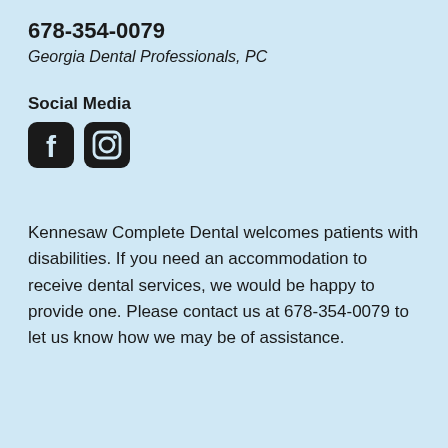678-354-0079
Georgia Dental Professionals, PC
Social Media
[Figure (illustration): Facebook and Instagram social media icons (rounded square icons in dark/black color)]
Kennesaw Complete Dental welcomes patients with disabilities. If you need an accommodation to receive dental services, we would be happy to provide one. Please contact us at 678-354-0079 to let us know how we may be of assistance.